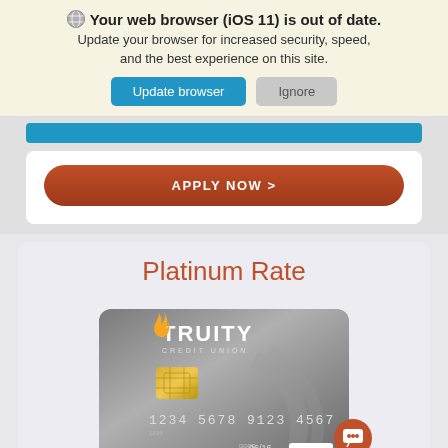Your web browser (iOS 11) is out of date. Update your browser for increased security, speed, and the best experience on this site.
[Figure (screenshot): Update browser and Ignore buttons]
[Figure (screenshot): Blue partial button bar at top of content area]
[Figure (screenshot): APPLY NOW > orange rounded button inside white card]
Platinum Rate
[Figure (photo): Truity Credit Union Visa platinum credit card - metallic grey card with chip, card number 1234 5678 9123 4567, Good Thru 06/16, Visa logo]